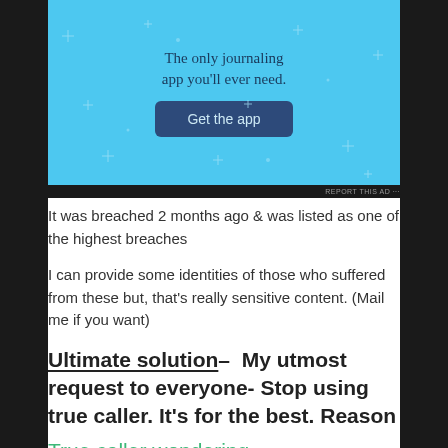[Figure (screenshot): Advertisement banner with light blue background showing 'The only journaling app you'll ever need.' tagline with a dark blue 'Get the app' button and sparkle decorations]
REPORT THIS AD
It was breached 2 months ago & was listed as one of the highest breaches
I can provide some identities of those who suffered from these but, that’s really sensitive content. (Mail me if you want)
Ultimate solution– My utmost request to everyone- Stop using true caller. It’s for the best. Reason
True caller wondering
Whenever you install an app in which you